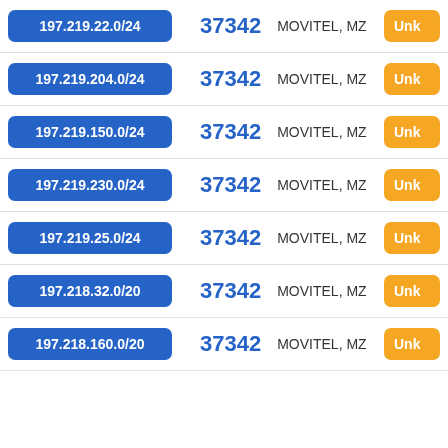| IP Range | ASN | Organization | Status |
| --- | --- | --- | --- |
| 197.219.22.0/24 | 37342 | MOVITEL, MZ | Unk |
| 197.219.204.0/24 | 37342 | MOVITEL, MZ | Unk |
| 197.219.150.0/24 | 37342 | MOVITEL, MZ | Unk |
| 197.219.230.0/24 | 37342 | MOVITEL, MZ | Unk |
| 197.219.25.0/24 | 37342 | MOVITEL, MZ | Unk |
| 197.218.32.0/20 | 37342 | MOVITEL, MZ | Unk |
| 197.218.160.0/20 | 37342 | MOVITEL, MZ | Unk |